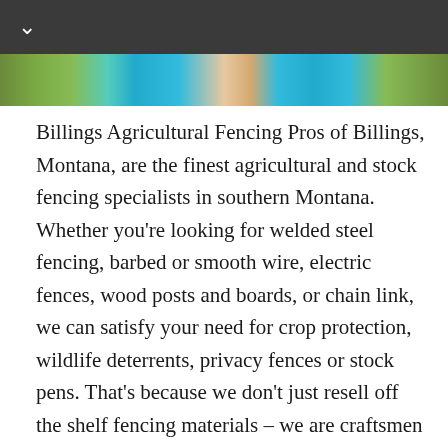[Figure (photo): Dark grey navigation bar with a white chevron/down-arrow icon on the left side]
[Figure (photo): Horizontal image strip showing agricultural/outdoor scene with green foliage, blue sky, and skin tones — appears to be a cropped banner photo]
Billings Agricultural Fencing Pros of Billings, Montana, are the finest agricultural and stock fencing specialists in southern Montana.  Whether you're looking for welded steel fencing, barbed or smooth wire, electric fences, wood posts and boards, or chain link, we can satisfy your need for crop protection, wildlife deterrents, privacy fences or stock pens. That's because we don't just resell off the shelf fencing materials – we are craftsmen who can design and construct any kind of stockyard or fence that you may require.  Every customer presents us with a unique challenge, as the fence designed to keep cows out of the highway won't match the one needed for the horse corral, or to keep the deer out of the corn.  We